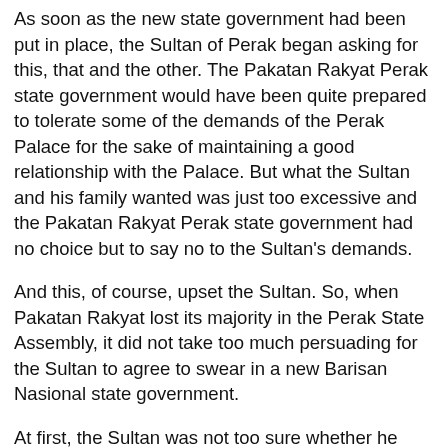As soon as the new state government had been put in place, the Sultan of Perak began asking for this, that and the other. The Pakatan Rakyat Perak state government would have been quite prepared to tolerate some of the demands of the Perak Palace for the sake of maintaining a good relationship with the Palace. But what the Sultan and his family wanted was just too excessive and the Pakatan Rakyat Perak state government had no choice but to say no to the Sultan's demands.
And this, of course, upset the Sultan. So, when Pakatan Rakyat lost its majority in the Perak State Assembly, it did not take too much persuading for the Sultan to agree to swear in a new Barisan Nasional state government.
At first, the Sultan was not too sure whether he should kick out the Pakatan Rakyat state government in favour of a Barisan Nasional government. When the Pakatan Rakyat Menteri Besar, Nizar Jamaluddin, went before the Sultan to request that the State Assembly be dissolved to make way for fresh state elections, the Sultan said he would think about it first. But immediately after that the Prime Minister,